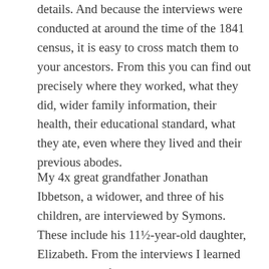details. And because the interviews were conducted at around the time of the 1841 census, it is easy to cross match them to your ancestors. From this you can find out precisely where they worked, what they did, wider family information, their health, their educational standard, what they ate, even where they lived and their previous abodes.
My 4x great grandfather Jonathan Ibbetson, a widower, and three of his children, are interviewed by Symons. These include his 11½-year-old daughter, Elizabeth. From the interviews I learned that two out of his three daughters worked below ground, one having done so since the age of six. The girls were hurriers, employed by their brother. This was common practice – the